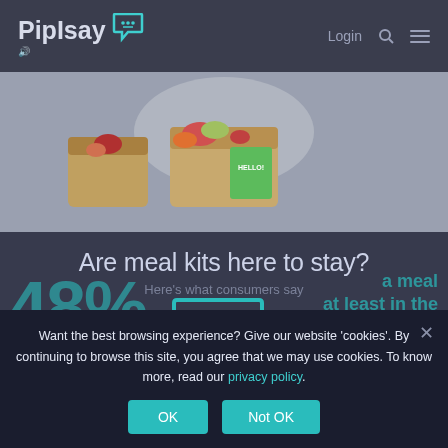PiplSay   Login   [search icon]   [menu]
[Figure (photo): Overhead view of meal kit delivery bag with groceries and a green HELLO card visible]
Are meal kits here to stay?
Here's what consumers say
Food & Beverage   Aug 3, 2021
48%
a meal   at least in the   past year
Want the best browsing experience? Give our website 'cookies'. By continuing to browse this site, you agree that we may use cookies. To know more, read our privacy policy.
OK   Not OK